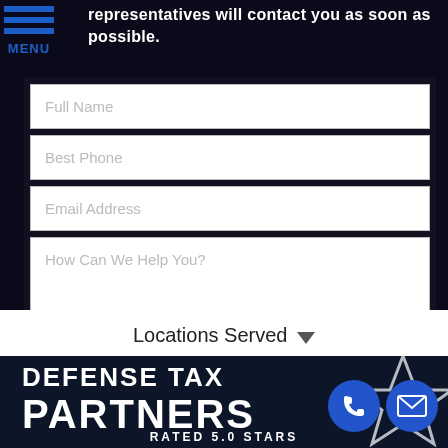representatives will contact you as soon as possible.
Full Name
Best Phone
Email Address
How Can We Help You?
SUBMIT MY REQUEST
Locations Served
DEFENSE TAX PARTNERS
RATED 5.0 STARS